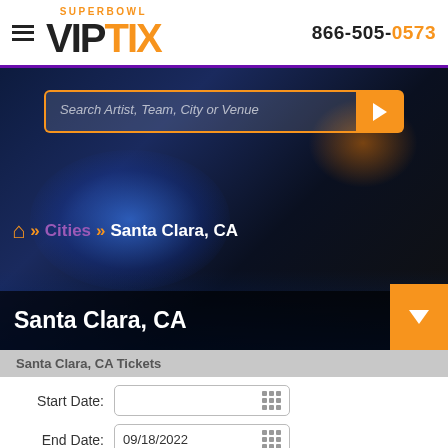SUPERBOWL VIPTIX — 866-505-0573
[Figure (screenshot): Search bar with placeholder text 'Search Artist, Team, City or Venue' and orange play button]
Cities >> Santa Clara, CA
Santa Clara, CA
Santa Clara, CA Tickets
Start Date:
End Date: 09/18/2022